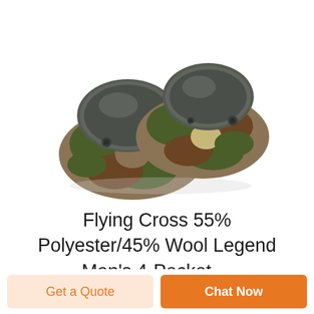[Figure (photo): Two camouflage military knee pads with dark gray hard plastic caps, stacked together on a white background. The fabric is in woodland camouflage pattern (green, brown, tan).]
Flying Cross 55% Polyester/45% Wool Legend Men's 4-Pocket ...
Get a Quote
Chat Now